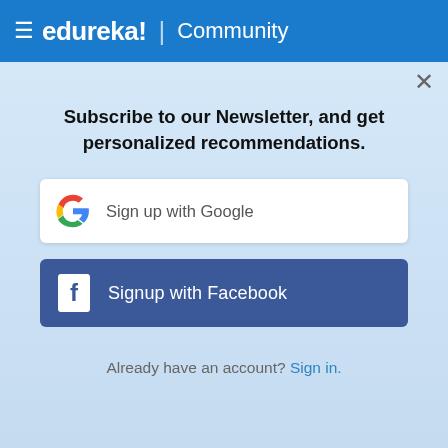≡ edureka! | Community
events_url : https://api.github.com/use
"received_events_url": "https://api.githu
"type": "User",
"site_admin": false,
"score": 1.0
},
{
"login": "emmanuekobindo"
Subscribe to our Newsletter, and get personalized recommendations.
Sign up with Google
Signup with Facebook
Already have an account? Sign in.